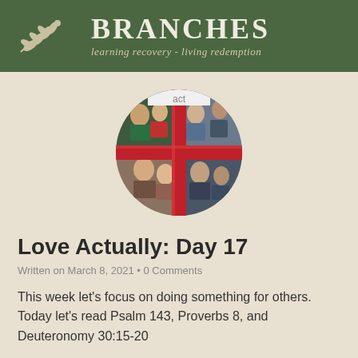BRANCHES — learning recovery · living redemption
[Figure (photo): Circular cropped photo collage showing scenes from Love Actually movie, featuring four quadrants of characters connected by a red ribbon/bow pattern.]
Love Actually: Day 17
Written on March 8, 2021 • 0 Comments
This week let's focus on doing something for others. Today let's read Psalm 143, Proverbs 8, and Deuteronomy 30:15-20